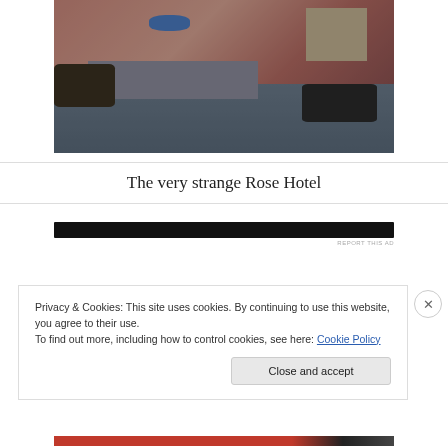[Figure (photo): A bedroom with a bed covered in a pink/red floral cover, a blue bag on the bed, a nightstand to the right, dark items/bags on the floor left and right, dark overall lighting]
The very strange Rose Hotel
[Figure (other): Black advertisement bar with 'REPORT THIS AD' label]
Privacy & Cookies: This site uses cookies. By continuing to use this website, you agree to their use.
To find out more, including how to control cookies, see here: Cookie Policy
[Figure (other): Bottom advertisement bar red and dark colored]